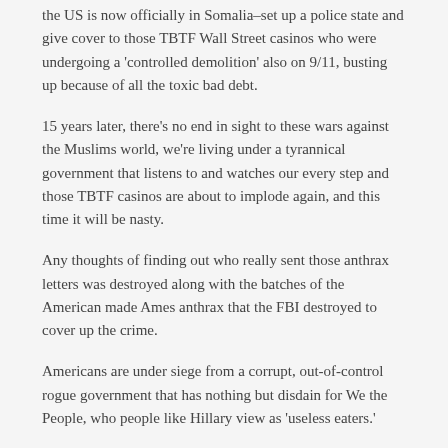the US is now officially in Somalia–set up a police state and give cover to those TBTF Wall Street casinos who were undergoing a 'controlled demolition' also on 9/11, busting up because of all the toxic bad debt.
15 years later, there's no end in sight to these wars against the Muslims world, we're living under a tyrannical government that listens to and watches our every step and those TBTF casinos are about to implode again, and this time it will be nasty.
Any thoughts of finding out who really sent those anthrax letters was destroyed along with the batches of the American made Ames anthrax that the FBI destroyed to cover up the crime.
Americans are under siege from a corrupt, out-of-control rogue government that has nothing but disdain for We the People, who people like Hillary view as 'useless eaters.'
We're in for a helluva ride and it's up to us where the ride ends; in a total police state or freedom.